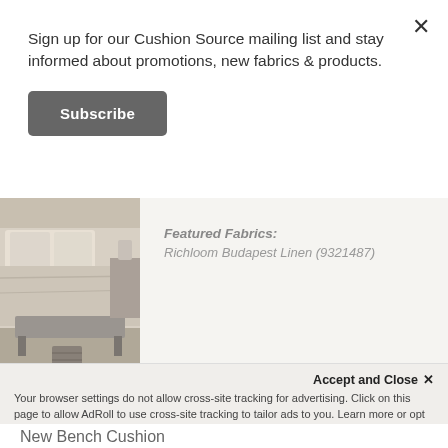Sign up for our Cushion Source mailing list and stay informed about promotions, new fabrics & products.
Subscribe
[Figure (photo): Photo of a bedroom with bench at foot of bed, featuring neutral linen fabrics]
Featured Fabrics:
Richloom Budapest Linen (9321487)
Charles A.   Livermore, CA   Mar 26, 2021
New Bench Cushion
Accept and Close ×
Your browser settings do not allow cross-site tracking for advertising. Click on this page to allow AdRoll to use cross-site tracking to tailor ads to you. Learn more or opt out of this AdRoll tracking by clicking here. This message only appears once.